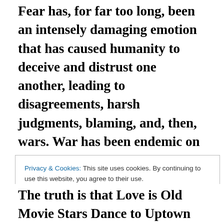Fear has, for far too long, been an intensely damaging emotion that has caused humanity to deceive and distrust one another, leading to disagreements, harsh judgments, blaming, and, then, wars. War has been endemic on Earth for eons because so many humans are fear-driven and seek to strike others preemptively before they themselves can be attacked. When this attitude is present in and encouraged by people of prominence in society – politicians, business leaders, religious leaders, and governmental leaders – trust is destroyed, devalued, dismissed, and presented as gullibility, further intensifying
Privacy & Cookies: This site uses cookies. By continuing to use this website, you agree to their use.
To find out more, including how to control cookies, see here: Cookie Policy
The truth is that Love is Old Movie Stars Dance to Uptown